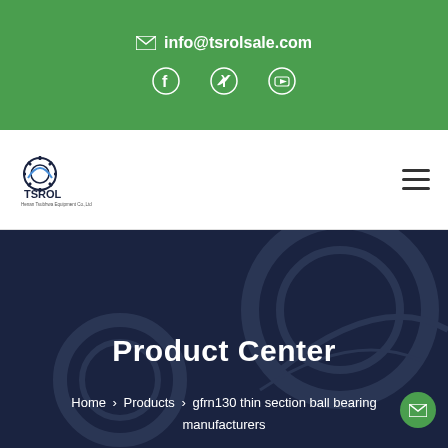info@tsrolsale.com
[Figure (logo): TSROL company logo with gear and rainbow design]
Product Center
Home > Products > gfrn130 thin section ball bearing manufacturers